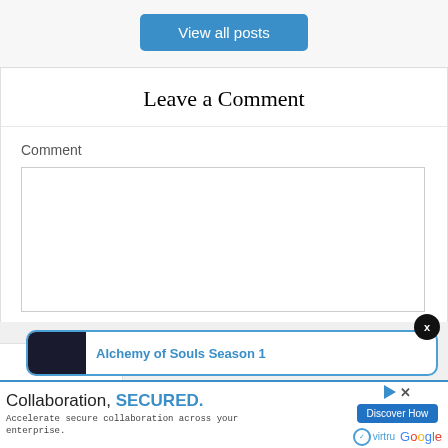View all posts
Leave a Comment
Comment
[Figure (screenshot): Empty comment textarea input box]
[Figure (screenshot): Recommendation bar showing 'Alchemy of Souls Season 1' with thumbnail]
[Figure (screenshot): Advertisement banner: Collaboration, SECURED. Accelerate secure collaboration across your enterprise. Virtru and Google logos with Discover How button.]